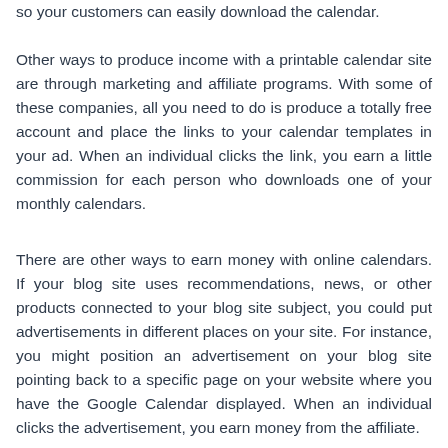so your customers can easily download the calendar.
Other ways to produce income with a printable calendar site are through marketing and affiliate programs. With some of these companies, all you need to do is produce a totally free account and place the links to your calendar templates in your ad. When an individual clicks the link, you earn a little commission for each person who downloads one of your monthly calendars.
There are other ways to earn money with online calendars. If your blog site uses recommendations, news, or other products connected to your blog site subject, you could put advertisements in different places on your site. For instance, you might position an advertisement on your blog site pointing back to a specific page on your website where you have the Google Calendar displayed. When an individual clicks the advertisement, you earn money from the affiliate.